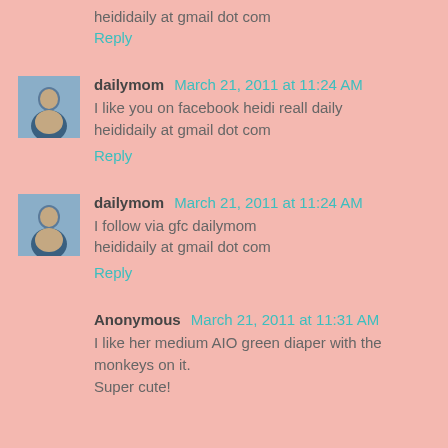heididaily at gmail dot com
Reply
dailymom March 21, 2011 at 11:24 AM
I like you on facebook heidi reall daily
heididaily at gmail dot com
Reply
dailymom March 21, 2011 at 11:24 AM
I follow via gfc dailymom
heididaily at gmail dot com
Reply
Anonymous March 21, 2011 at 11:31 AM
I like her medium AIO green diaper with the monkeys on it. Super cute!